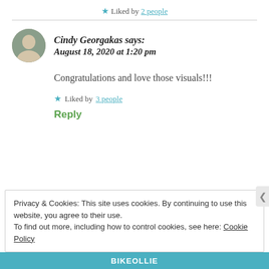★ Liked by 2 people
Cindy Georgakas says: August 18, 2020 at 1:20 pm
Congratulations and love those visuals!!!
★ Liked by 3 people
Reply
Privacy & Cookies: This site uses cookies. By continuing to use this website, you agree to their use. To find out more, including how to control cookies, see here: Cookie Policy
Close and accept